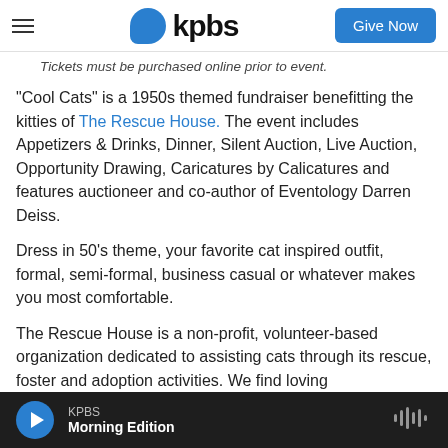KPBS — Give Now
Tickets must be purchased online prior to event.
"Cool Cats" is a 1950s themed fundraiser benefitting the kitties of The Rescue House. The event includes Appetizers & Drinks, Dinner, Silent Auction, Live Auction, Opportunity Drawing, Caricatures by Calicatures and features auctioneer and co-author of Eventology Darren Deiss.
Dress in 50's theme, your favorite cat inspired outfit, formal, semi-formal, business casual or whatever makes you most comfortable.
The Rescue House is a non-profit, volunteer-based organization dedicated to assisting cats through its rescue, foster and adoption activities. We find loving
KPBS Morning Edition